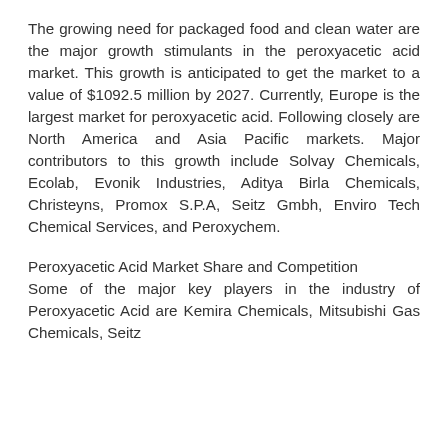The growing need for packaged food and clean water are the major growth stimulants in the peroxyacetic acid market. This growth is anticipated to get the market to a value of $1092.5 million by 2027. Currently, Europe is the largest market for peroxyacetic acid. Following closely are North America and Asia Pacific markets. Major contributors to this growth include Solvay Chemicals, Ecolab, Evonik Industries, Aditya Birla Chemicals, Christeyns, Promox S.P.A, Seitz Gmbh, Enviro Tech Chemical Services, and Peroxychem.
Peroxyacetic Acid Market Share and Competition
Some of the major key players in the industry of Peroxyacetic Acid are Kemira Chemicals, Mitsubishi Gas Chemicals, Seitz